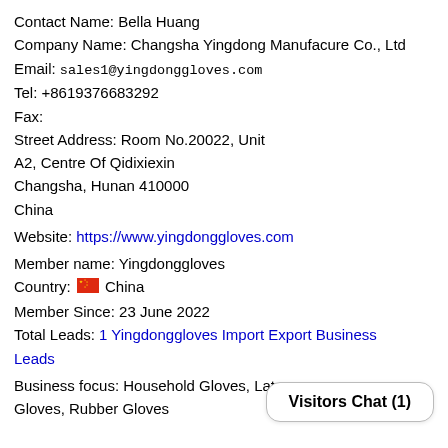Contact Name: Bella Huang
Company Name: Changsha Yingdong Manufacure Co., Ltd
Email: sales1@yingdonggloves.com
Tel: +8619376683292
Fax:
Street Address: Room No.20022, Unit A2, Centre Of Qidixiexin Changsha, Hunan 410000 China
Website: https://www.yingdonggloves.com
Member name: Yingdonggloves
Country: China
Member Since: 23 June 2022
Total Leads: 1 Yingdonggloves Import Export Business Leads
Business focus: Household Gloves, Latex Gloves, Rubber Gloves